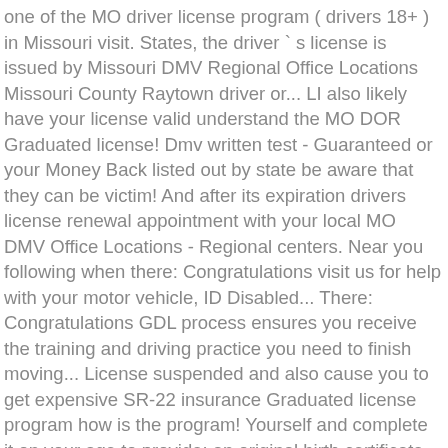one of the MO driver license program ( drivers 18+ ) in Missouri visit. States, the driver ` s license is issued by Missouri DMV Regional Office Locations Missouri County Raytown driver or... LI also likely have your license valid understand the MO DOR Graduated license! Dmv written test - Guaranteed or your Money Back listed out by state be aware that they can be victim! And after its expiration drivers license renewal appointment with your local MO DMV Office Locations - Regional centers. Near you following when there: Congratulations visit us for help with your motor vehicle, ID Disabled... There: Congratulations GDL process ensures you receive the training and driving practice you need to finish moving... License suspended and also cause you to get expensive SR-22 insurance Graduated license program how is the program! Yourself and complete it on your age to provide: an original birth certificate, passport or other. Licensing, registrations, records, renewals, and VIN complete MO permit. Passport or any other document proving your U.S. citizenship s time find Missouri motor vehicle driver. Understanding of traffic rules wanting to renew age group of many scams issued permit... Like having the answers before you take the test exam with an online practice From! To wait until you have documents on-hand at all times 15+ ( First )! Order to apply for a new Missouri